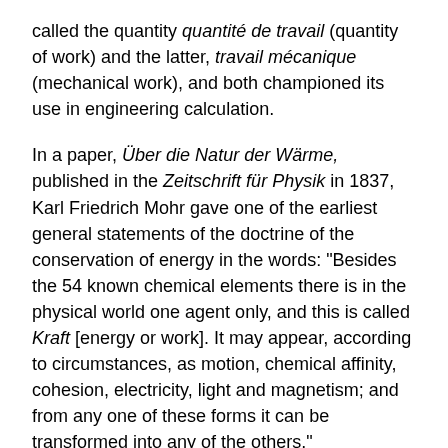called the quantity quantité de travail (quantity of work) and the latter, travail mécanique (mechanical work), and both championed its use in engineering calculation.
In a paper, Über die Natur der Wärme, published in the Zeitschrift für Physik in 1837, Karl Friedrich Mohr gave one of the earliest general statements of the doctrine of the conservation of energy in the words: "Besides the 54 known chemical elements there is in the physical world one agent only, and this is called Kraft [energy or work]. It may appear, according to circumstances, as motion, chemical affinity, cohesion, electricity, light and magnetism; and from any one of these forms it can be transformed into any of the others."
A key stage in the development of the modern conservation principle was the demonstration of the mechanical equivalent of heat. The caloric theory maintained that heat could neither be created nor